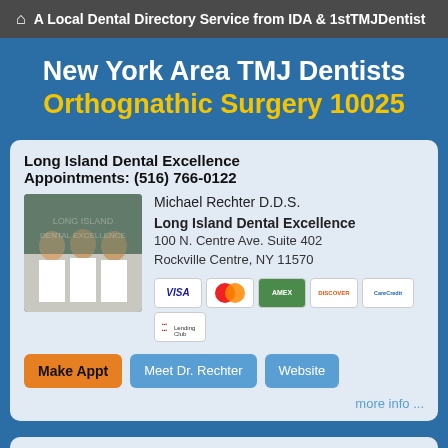A Local Dental Directory Service from IDA & 1stTMJDentist
New York Area TMJ Dentists
Orthognathic Surgery 10025
Long Island Dental Excellence
Appointments: (516) 766-0122
[Figure (photo): Three dentists in white lab coats standing together]
Michael Rechter D.D.S.
Long Island Dental Excellence
100 N. Centre Ave. Suite 402
Rockville Centre, NY 11570
[Figure (other): Payment method icons: Visa, MasterCard, green card, Discover, CareCredit, LendingClub]
Make Appt   Meet Dr. Rechter   Website
more info ...
Steven A. Puma, D.D.S.